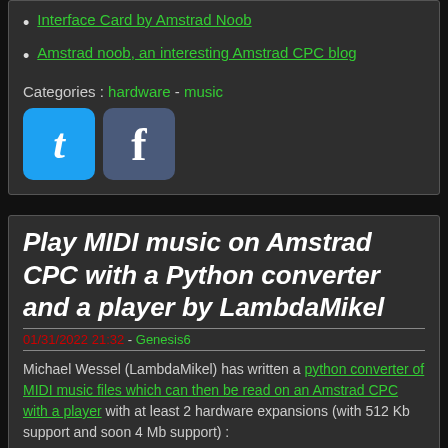Interface Card by Amstrad Noob
Amstrad noob, an interesting Amstrad CPC blog
Categories : hardware - music
[Figure (other): Twitter and Facebook social share icon buttons]
Play MIDI music on Amstrad CPC with a Python converter and a player by LambdaMikel
01/31/2022 21:32 - Genesis6
Michael Wessel (LambdaMikel) has written a python converter of MIDI music files which can then be read on an Amstrad CPC with a player with at least 2 hardware expansions (with 512 Kb support and soon 4 Mb support) :
The Ultimate CPC MIDI Sound & MIDI Interface Card by